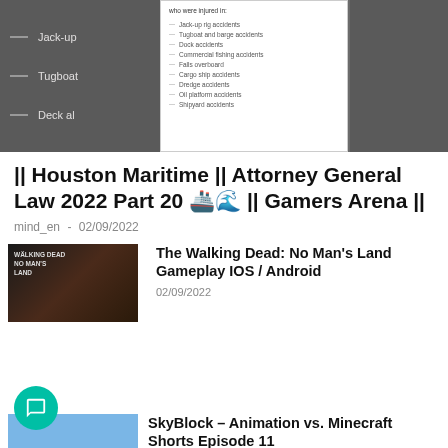[Figure (screenshot): Top banner image showing a document screenshot with left dark sidebar listing Jack-up, Tugboat, Deck items and a center white panel with a bulleted list of maritime accident types, and a right dark panel]
|| Houston Maritime || Attorney General Law 2022 Part 20 🚢🌊 || Gamers Arena ||
mind_en - 02/09/2022
[Figure (photo): The Walking Dead: No Man's Land game thumbnail]
The Walking Dead: No Man's Land Gameplay IOS / Android
02/09/2022
[Figure (photo): SkyBlock – Animation vs. Minecraft Shorts Episode 11 thumbnail]
SkyBlock – Animation vs. Minecraft Shorts Episode 11
02/09/2022
[Figure (photo): Assassin's Creed Valhalla game thumbnail]
Assassin's Creed Valhalla | Reda's Weekly Items | 12 July